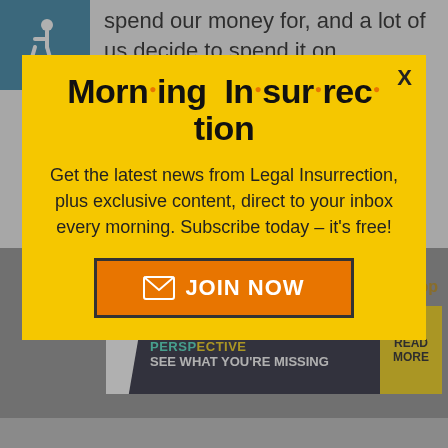spend our money for, and a lot of us decide to spend it on something other than our own health insurance plan. This is especially true of younger
[Figure (illustration): Wheelchair accessibility icon on teal/blue background]
[Figure (infographic): Morning Insurrection newsletter signup modal popup with yellow background. Title: 'Morn·ing In·sur·rec·tion'. Body: 'Get the latest news from Legal Insurrection, plus exclusive content, direct to your inbox every morning. Subscribe today – it's free!' with orange JOIN NOW button.]
Take that Chane...
Back to top
[Figure (screenshot): The Perspective advertisement banner: 'SEE WHAT YOU'RE MISSING' with READ MORE button]